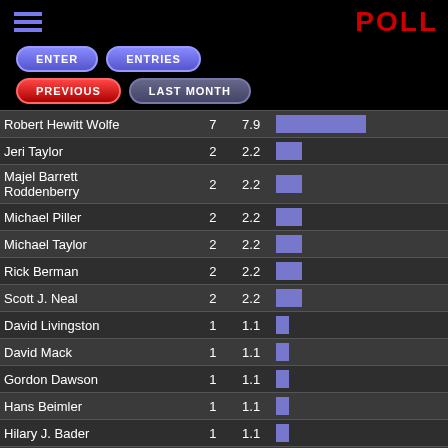POLL
[Figure (other): Navigation buttons: ENTER, ENTRIES (blue pill buttons), PREVIOUS (red pill button), LAST MONTH (dark pill button)]
| Name | Votes | % | Bar |
| --- | --- | --- | --- |
| Robert Hewitt Wolfe | 7 | 7.9 |  |
| Jeri Taylor | 2 | 2.2 |  |
| Majel Barrett Roddenberry | 2 | 2.2 |  |
| Michael Piller | 2 | 2.2 |  |
| Michael Taylor | 2 | 2.2 |  |
| Rick Berman | 2 | 2.2 |  |
| Scott J. Neal | 2 | 2.2 |  |
| David Livingston | 1 | 1.1 |  |
| David Mack | 1 | 1.1 |  |
| Gordon Dawson | 1 | 1.1 |  |
| Hans Beimler | 1 | 1.1 |  |
| Hilary J. Bader | 1 | 1.1 |  |
| ... | 1 | 1.1 |  |